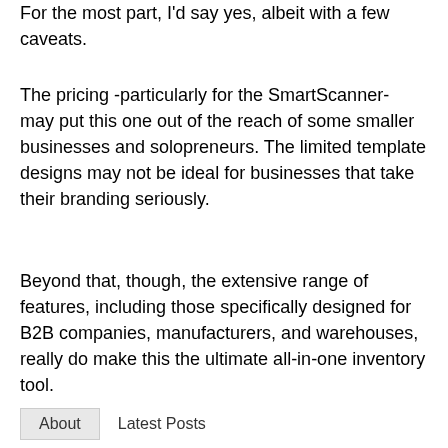For the most part, I'd say yes, albeit with a few caveats.
The pricing -particularly for the SmartScanner- may put this one out of the reach of some smaller businesses and solopreneurs. The limited template designs may not be ideal for businesses that take their branding seriously.
Beyond that, though, the extensive range of features, including those specifically designed for B2B companies, manufacturers, and warehouses, really do make this the ultimate all-in-one inventory tool.
About   Latest Posts